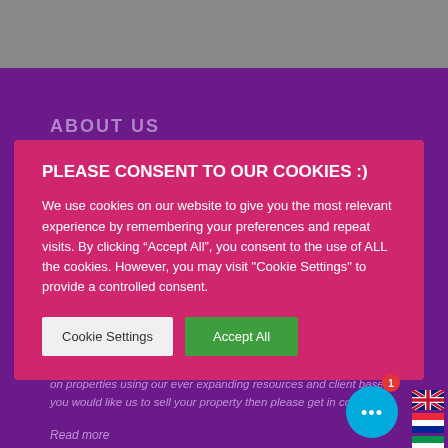ABOUT US
PLEASE CONSENT TO OUR COOKIES :)
We use cookies on our website to give you the most relevant experience by remembering your preferences and repeat visits. By clicking “Accept All”, you consent to the use of ALL the cookies. However, you may visit "Cookie Settings" to provide a controlled consent.
on properties using our ever expanding resources and client base. If you would like us to sell your property then please get in contact.
Read more